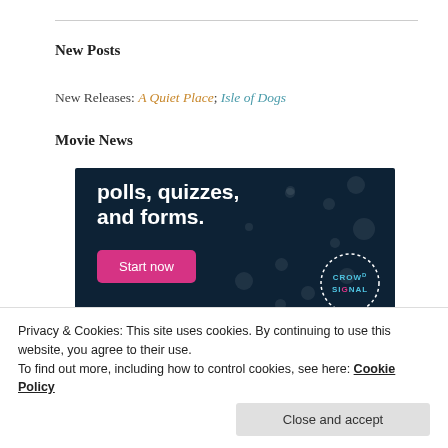New Posts
New Releases: A Quiet Place; Isle of Dogs
Movie News
[Figure (screenshot): Advertisement banner with dark navy background showing text 'polls, quizzes, and forms.' with a pink 'Start now' button and a CrowdSignal logo circle in the bottom right corner.]
Privacy & Cookies: This site uses cookies. By continuing to use this website, you agree to their use.
To find out more, including how to control cookies, see here: Cookie Policy
Close and accept